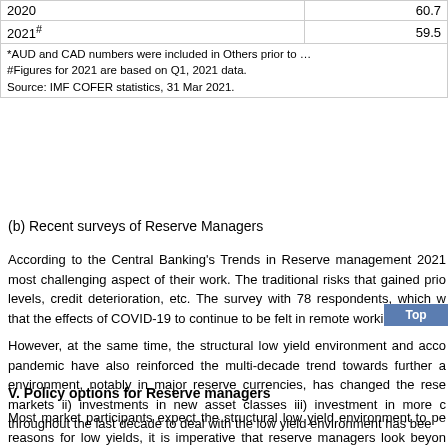| Year | Value |
| --- | --- |
| 2020 | 60.7 |
| 2021# | 59.5 |
| *AUD and CAD numbers were included in Others prior to ...
#Figures for 2021 are based on Q1, 2021 data.
Source: IMF COFER statistics, 31 Mar 2021. |  |
(b) Recent surveys of Reserve Managers
According to the Central Banking's Trends in Reserve management 2021 most challenging aspect of their work. The traditional risks that gained prio levels, credit deterioration, etc. The survey with 78 respondents, which w that the effects of COVID-19 to continue to be felt in remote working, tactic
However, at the same time, the structural low yield environment and acco pandemic have also reinforced the multi-decade trend towards further a environment, notably in major reserve currencies, has changed the rese markets ii) investments in new asset classes iii) investment in more c throughout the last decade to deal with the low yield environment has bee
Another recent survey, UBS Annual Reserve Management Seminar Surve worry of reserve managers in 2021 and central banks are “still diversifying by participants to diversify their portfolios included passive equity, corpora reserve managers reporting that they recently moved, or considered movir
V. Policy options for Reserve managers
Most market participants expect the structural low yield environment to pe reasons for low yields, it is imperative that reserve managers look beyon returns. We highlight some alternate ways for reserves management in th